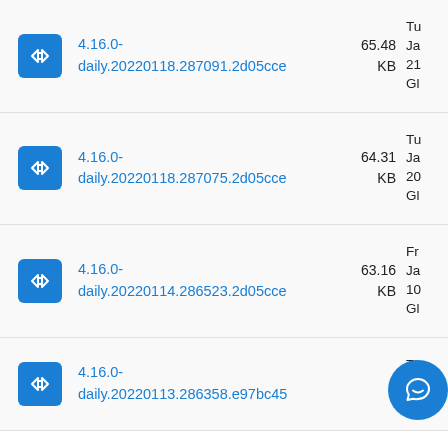4.16.0-daily.20220118.287091.2d05cce  65.48 KB  Tu Ja 21 Gl
4.16.0-daily.20220118.287075.2d05cce  64.31 KB  Tu Ja 20 Gl
4.16.0-daily.20220114.286523.2d05cce  63.16 KB  Fr Ja 10 Gl
4.16.0-daily.20220113.286358.e97bc45  KB  Th Ja 19